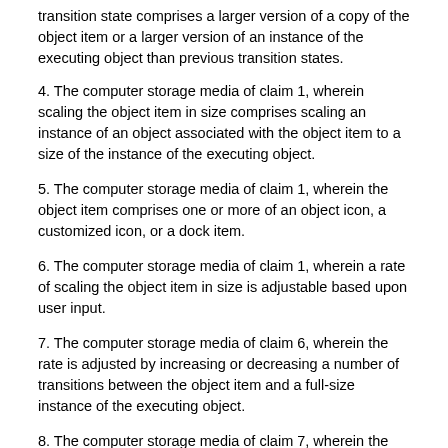transition state comprises a larger version of a copy of the object item or a larger version of an instance of the executing object than previous transition states.
4. The computer storage media of claim 1, wherein scaling the object item in size comprises scaling an instance of an object associated with the object item to a size of the instance of the executing object.
5. The computer storage media of claim 1, wherein the object item comprises one or more of an object icon, a customized icon, or a dock item.
6. The computer storage media of claim 1, wherein a rate of scaling the object item in size is adjustable based upon user input.
7. The computer storage media of claim 6, wherein the rate is adjusted by increasing or decreasing a number of transitions between the object item and a full-size instance of the executing object.
8. The computer storage media of claim 7, wherein the rate is adjusted by increasing or decreasing a period between successive transitions between the object item and a full-size instance of the executing object.
9. The computer storage media of claim 1, wherein the object item